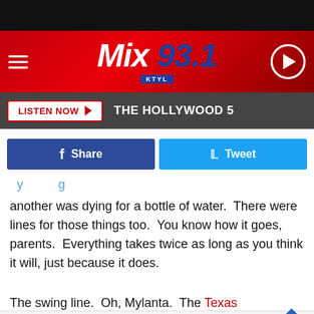[Figure (screenshot): Mix 93.1 KTYL radio station website header with red gradient background, hamburger menu icon on left, Mix 93.1 KTYL logo in center, and play button circle on right]
LISTEN NOW ▶  THE HOLLYWOOD 5
[Figure (infographic): Facebook Share button (dark blue) and Twitter Tweet button (light blue) side by side]
another was dying for a bottle of water.  There were lines for those things too.  You know how it goes, parents.  Everything takes twice as long as you think it will, just because it does.
The swing line.  Oh, Mylanta.  The Texas Skyscreamer swing ride probably didn't have the longest line in the park, but we stood [ad] n over the lo
[Figure (infographic): Walgreens ad banner: Summer Savings Are Heating Up, Walgreens Photo]